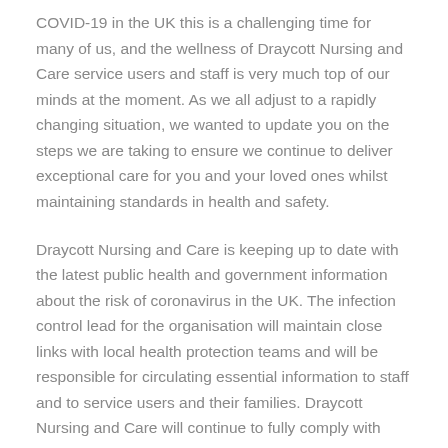COVID-19 in the UK this is a challenging time for many of us, and the wellness of Draycott Nursing and Care service users and staff is very much top of our minds at the moment. As we all adjust to a rapidly changing situation, we wanted to update you on the steps we are taking to ensure we continue to deliver exceptional care for you and your loved ones whilst maintaining standards in health and safety.
Draycott Nursing and Care is keeping up to date with the latest public health and government information about the risk of coronavirus in the UK. The infection control lead for the organisation will maintain close links with local health protection teams and will be responsible for circulating essential information to staff and to service users and their families. Draycott Nursing and Care will continue to fully comply with official advice,